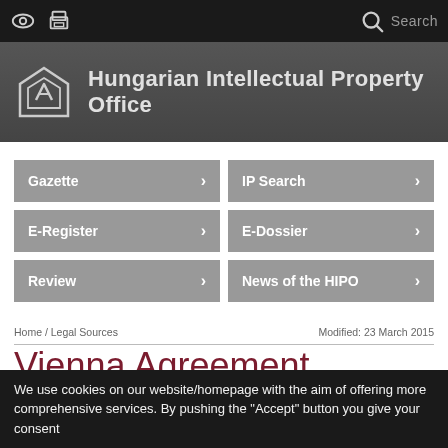Hungarian Intellectual Property Office
Gazette
IP Search
E-Register
E-Dossier
Review
News of the HIPO
Home / Legal Sources                                     Modified: 23 March 2015
Vienna Agreement
We use cookies on our website/homepage with the aim of offering more comprehensive services. By pushing the "Accept" button you give your consent